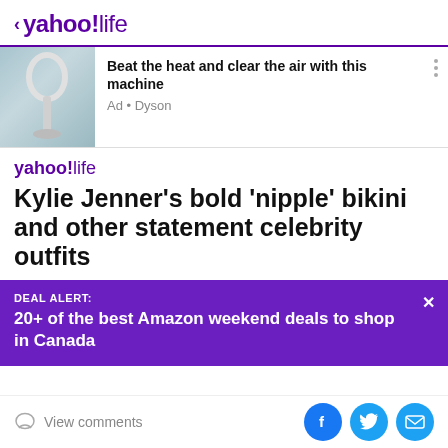< yahoo!life
[Figure (screenshot): Ad banner showing a Dyson air purifier fan in a living room setting]
Beat the heat and clear the air with this machine
Ad • Dyson
yahoo!life
Kylie Jenner's bold 'nipple' bikini and other statement celebrity outfits
DEAL ALERT:
20+ of the best Amazon weekend deals to shop in Canada
View comments